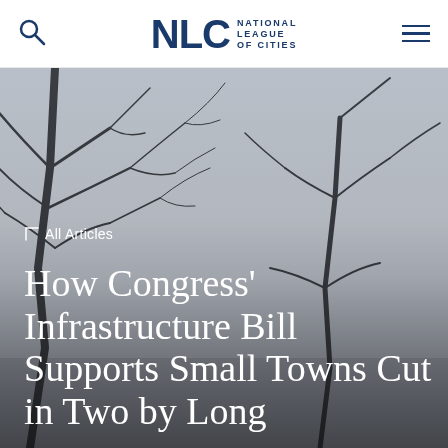NLC National League of Cities
[Figure (photo): Moody winter landscape with bare tree branches silhouetted against a grey overcast sky, used as hero background image for article page.]
← All Articles
How Congress' Infrastructure Bill Supports Small Towns Cut in Two by Long...